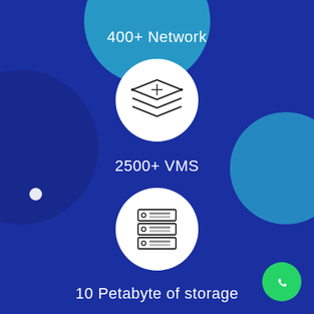[Figure (infographic): White circle icon with stacked layers/network symbol]
400+ Network
[Figure (infographic): White circle icon with stacked layers/VMS symbol]
2500+ VMS
[Figure (infographic): White circle icon with server/storage rack symbol]
10 Petabyte of storage